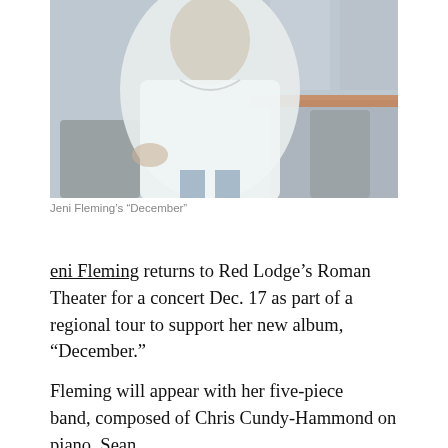[Figure (photo): Photo of a person in a white shirt or garment, sitting in a room with chairs and a striped wall backdrop. The image is cropped showing partial figure. This is the album cover or promotional photo for Jeni Fleming's 'December'.]
Jeni Fleming's “December”
eni Fleming returns to Red Lodge’s Roman Theater for a concert Dec. 17 as part of a regional tour to support her new album, “December.”
Fleming will appear with her five-piece band, composed of Chris Cundy-Hammond on piano, Sean Lehman on bass, Adam Greenberg on drums, Craig Hall on electric guitar, and her husband Jake Fleming on acoustic guitar and saxophone.
The sophisticated and graceful Bozeman-based